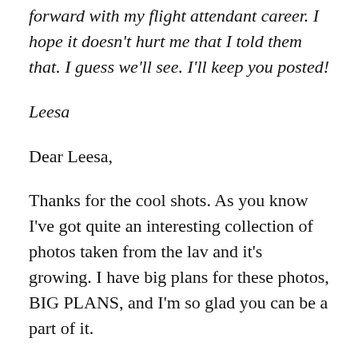forward with my flight attendant career. I hope it doesn't hurt me that I told them that. I guess we'll see. I'll keep you posted!
Leesa
Dear Leesa,
Thanks for the cool shots. As you know I've got quite an interesting collection of photos taken from the lav and it's growing. I have big plans for these photos, BIG PLANS, and I'm so glad you can be a part of it.